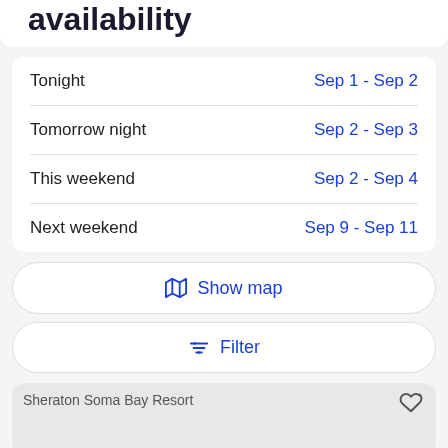availability
Tonight — Sep 1 - Sep 2
Tomorrow night — Sep 2 - Sep 3
This weekend — Sep 2 - Sep 4
Next weekend — Sep 9 - Sep 11
Show map
Filter
Sheraton Soma Bay Resort